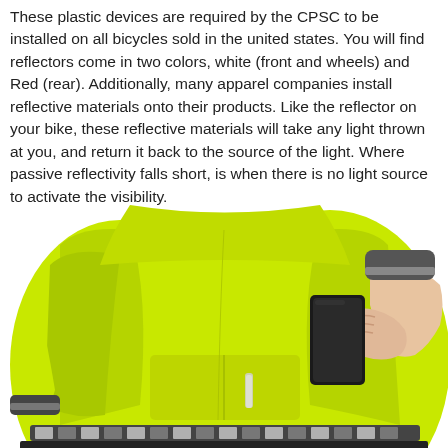These plastic devices are required by the CPSC to be installed on all bicycles sold in the united states. You will find reflectors come in two colors, white (front and wheels) and Red (rear). Additionally, many apparel companies install reflective materials onto their products. Like the reflector on your bike, these reflective materials will take any light thrown at you, and return it back to the source of the light. Where passive reflectivity falls short, is when there is no light source to activate the visibility.
[Figure (photo): Person wearing a bright neon yellow-green cycling jacket, viewed from behind, pulling a black smartphone out of the rear pocket. The jacket has reflective strips at the bottom and on the sleeve cuff. The background is white.]